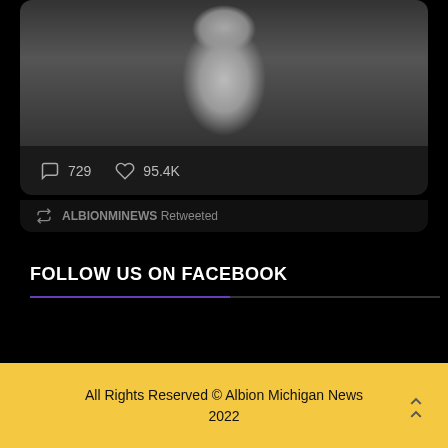[Figure (photo): Black and white photo of a woman in a jumpsuit smiling at a NASA-style control console with equipment panels behind her, shown inside a tweet card with comment count 729 and like count 95.4K]
729
95.4K
ALBIONMINEWS Retweeted
FOLLOW US ON FACEBOOK
All Rights Reserved © Albion Michigan News 2022